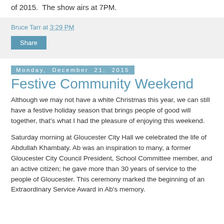of 2015.  The show airs at 7PM.
Bruce Tarr at 3:29 PM
Share
Monday, December 21, 2015
Festive Community Weekend
Although we may not have a white Christmas this year, we can still have a festive holiday season that brings people of good will together, that's what I had the pleasure of enjoying this weekend.
Saturday morning at Gloucester City Hall we celebrated the life of Abdullah Khambaty. Ab was an inspiration to many, a former Gloucester City Council President, School Committee member, and an active citizen; he gave more than 30 years of service to the people of Gloucester. This ceremony marked the beginning of an Extraordinary Service Award in Ab's memory.